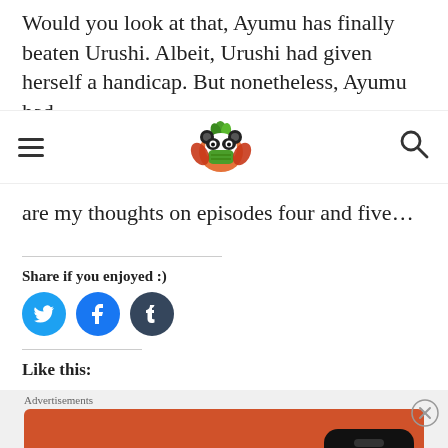Would you look at that, Ayumu has finally beaten Urushi. Albeit, Urushi had given herself a handicap. But nonetheless, Ayumu had
[Figure (logo): Website navigation bar with hamburger menu icon on left, panda mascot logo in center, and search icon on right]
are my thoughts on episodes four and five…
Share if you enjoyed :)
[Figure (infographic): Three social sharing buttons: Twitter (blue bird), Facebook (blue f), Tumblr (dark blue t)]
Like this:
[Figure (infographic): DuckDuckGo advertisement banner with orange background. Text: Search, browse, and email with more privacy. All in One Free App. Shows phone mockup with DuckDuckGo logo.]